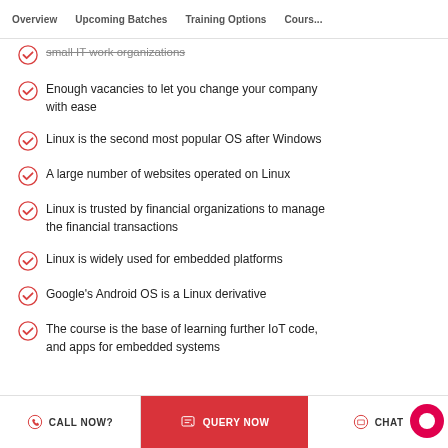Overview  Upcoming Batches  Training Options  Cours...
small IT work organizations
Enough vacancies to let you change your company with ease
Linux is the second most popular OS after Windows
A large number of websites operated on Linux
Linux is trusted by financial organizations to manage the financial transactions
Linux is widely used for embedded platforms
Google's Android OS is a Linux derivative
The course is the base of learning further IoT code, and apps for embedded systems
CALL NOW?  QUERY NOW  CHAT